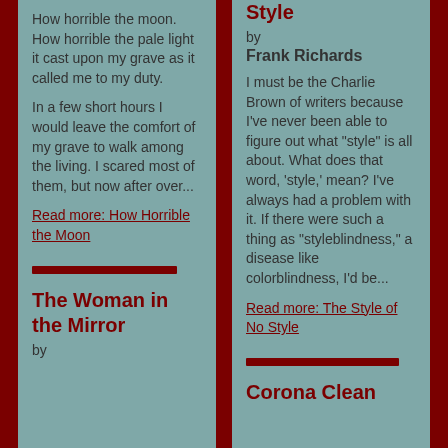How horrible the moon. How horrible the pale light it cast upon my grave as it called me to my duty.
In a few short hours I would leave the comfort of my grave to walk among the living. I scared most of them, but now after over...
Read more: How Horrible the Moon
The Woman in the Mirror
by
Style
by
Frank Richards
I must be the Charlie Brown of writers because I've never been able to figure out what "style" is all about. What does that word, 'style,' mean? I've always had a problem with it. If there were such a thing as "styleblindness," a disease like colorblindness, I'd be...
Read more: The Style of No Style
Corona Clean